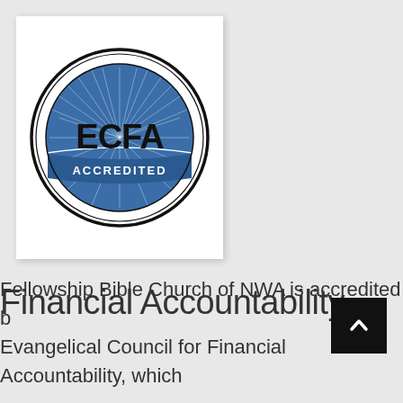[Figure (logo): ECFA Accredited seal — circular badge with double black ring border, blue interior with radiating light rays, bold black letters ECFA at center, white text ACCREDITED on lower blue band]
Financial Accountability
Fellowship Bible Church of NWA is accredited by the Evangelical Council for Financial Accountability, which